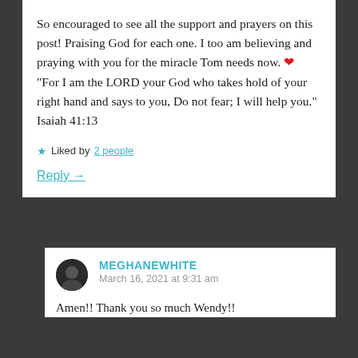So encouraged to see all the support and prayers on this post! Praising God for each one. I too am believing and praying with you for the miracle Tom needs now. ❤ “For I am the LORD your God who takes hold of your right hand and says to you, Do not fear; I will help you.” Isaiah 41:13
★ Liked by 2 people
Reply →
MEGHANEWHITE
March 16, 2021 at 9:31 am
Amen!! Thank you so much Wendy!!